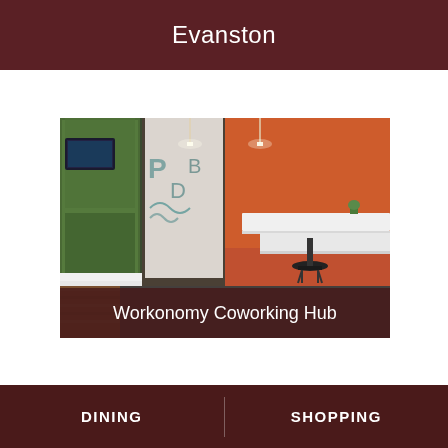Evanston
[Figure (photo): Interior of Workonomy Coworking Hub showing a green moss wall on the left, a long corridor with decorative lettering on the walls, carpeted floor, and on the right side an orange wall with white desks and bar stools]
Workonomy Coworking Hub
DINING   SHOPPING